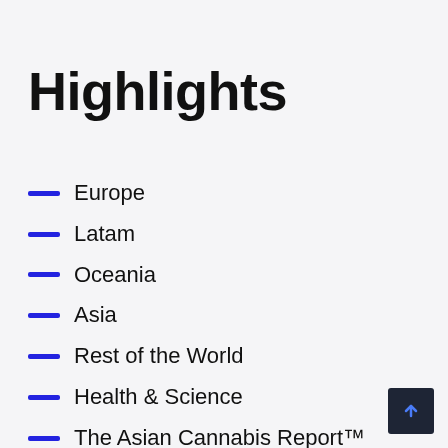Highlights
Europe
Latam
Oceania
Asia
Rest of the World
Health & Science
The Asian Cannabis Report™
Featured